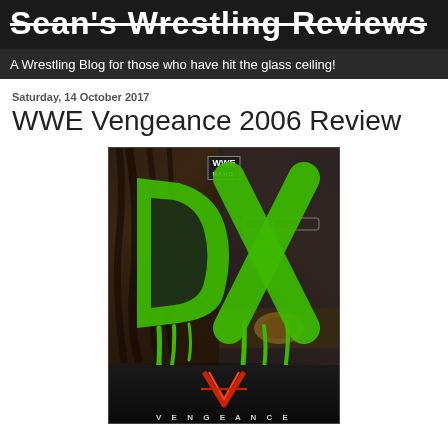Sean's Wrestling Reviews
A Wrestling Blog for those who have hit the glass ceiling!
Saturday, 14 October 2017
WWE Vengeance 2006 Review
[Figure (photo): WWE Vengeance 2006 DVD cover featuring two wrestlers with a large green DX spray-painted X over them and the Vengeance logo at the bottom]